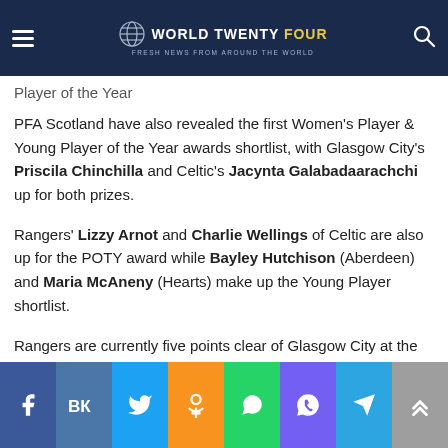World Twenty Four — Fresh news from around the world
Player of the Year
PFA Scotland have also revealed the first Women's Player & Young Player of the Year awards shortlist, with Glasgow City's Priscila Chinchilla and Celtic's Jacynta Galabadaarachchi up for both prizes.
Rangers' Lizzy Arnot and Charlie Wellings of Celtic are also up for the POTY award while Bayley Hutchison (Aberdeen) and Maria McAneny (Hearts) make up the Young Player shortlist.
Rangers are currently five points clear of Glasgow City at the top of the Scottish Women's Premier League 1 with three
Social share buttons: Facebook, VK, Twitter, Odnoklassniki, WhatsApp, Viber, Telegram, Scroll up